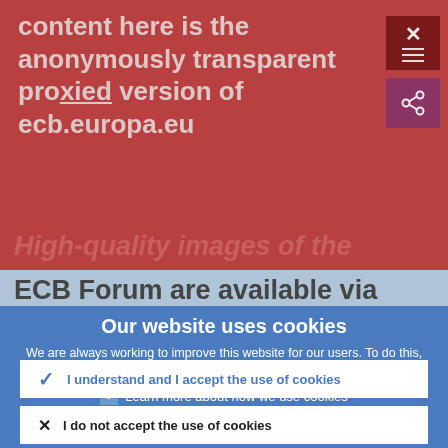content here is the anonymously transparent proxied version of ecb.europa.eu
High-quality images of the ECB Forum are available via
Our website uses cookies
We are always working to improve this website for our users. To do this, we use the anonymous data provided by cookies.
Learn more about how we use cookies
I understand and I accept the use of cookies
I do not accept the use of cookies